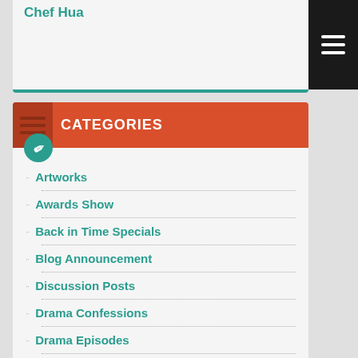Chef Hua
CATEGORIES
Artworks
Awards Show
Back in Time Specials
Blog Announcement
Discussion Posts
Drama Confessions
Drama Episodes
Entertainment News
First Impression